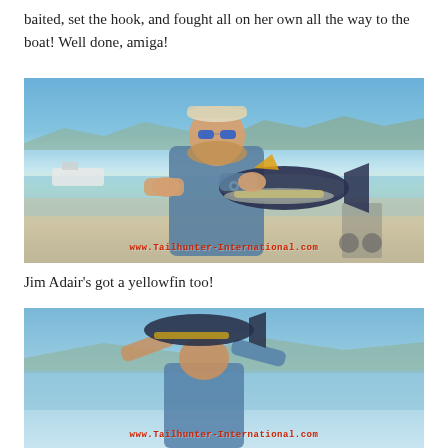baited, set the hook, and fought all on her own all the way to the boat! Well done, amiga!
[Figure (photo): Man in blue fishing shirt and blue mirrored sunglasses holding a yellowfin tuna on a beach, with a boat and mountains in the background. Watermark: www.Tailhunter-International.com]
Jim Adair's got a yellowfin too!
[Figure (photo): Partial photo at bottom of page showing a person holding a fish outdoors. Watermark: www.Tailhunter-International.com]